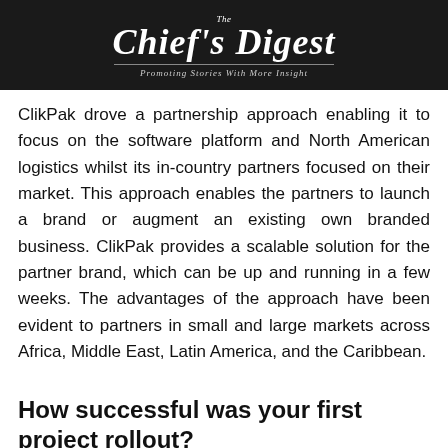The Chief's Digest — Promoting Stories With More Insight
ClikPak drove a partnership approach enabling it to focus on the software platform and North American logistics whilst its in-country partners focused on their market. This approach enables the partners to launch a brand or augment an existing own branded business. ClikPak provides a scalable solution for the partner brand, which can be up and running in a few weeks. The advantages of the approach have been evident to partners in small and large markets across Africa, Middle East, Latin America, and the Caribbean.
How successful was your first project rollout?